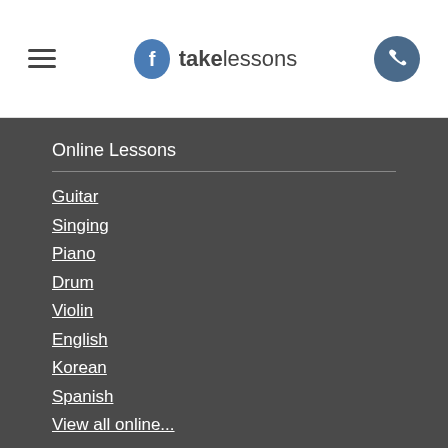takelessons
Online Lessons
Guitar
Singing
Piano
Drum
Violin
English
Korean
Spanish
View all online...
Group Online Classes